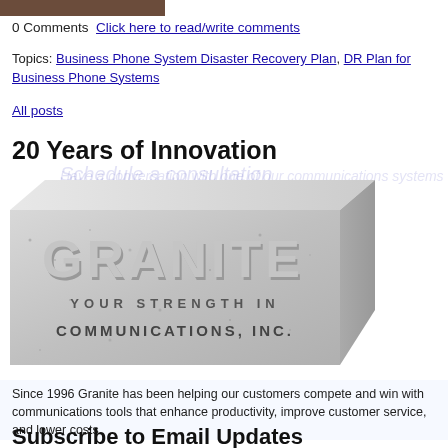[Figure (photo): Small cropped photo of a person or object at top left]
0 Comments  Click here to read/write comments
Topics: Business Phone System Disaster Recovery Plan, DR Plan for Business Phone Systems
All posts
20 Years of Innovation
[Figure (logo): 3D granite block logo reading GRANITE YOUR STRENGTH IN COMMUNICATIONS, INC.]
Since 1996 Granite has been helping our customers compete and win with communications tools that enhance productivity, improve customer service, and lower costs.
Subscribe to Email Updates